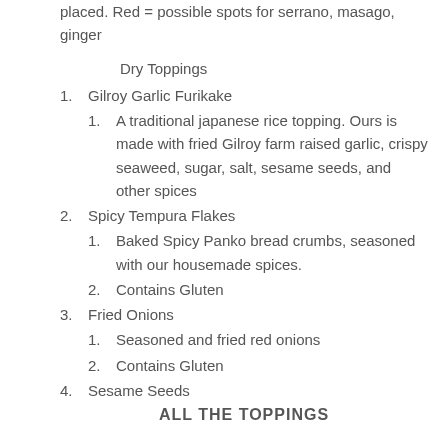placed. Red = possible spots for serrano, masago, ginger
Dry Toppings
1. Gilroy Garlic Furikake
1. A traditional japanese rice topping. Ours is made with fried Gilroy farm raised garlic, crispy seaweed, sugar, salt, sesame seeds, and other spices
2. Spicy Tempura Flakes
1. Baked Spicy Panko bread crumbs, seasoned with our housemade spices.
2. Contains Gluten
3. Fried Onions
1. Seasoned and fried red onions
2. Contains Gluten
4. Sesame Seeds
ALL THE TOPPINGS